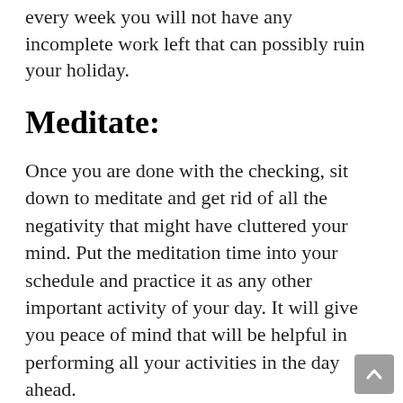every week you will not have any incomplete work left that can possibly ruin your holiday.
Meditate:
Once you are done with the checking, sit down to meditate and get rid of all the negativity that might have cluttered your mind. Put the meditation time into your schedule and practice it as any other important activity of your day. It will give you peace of mind that will be helpful in performing all your activities in the day ahead.
Start healthy:
Most people think it's just the breakfast that